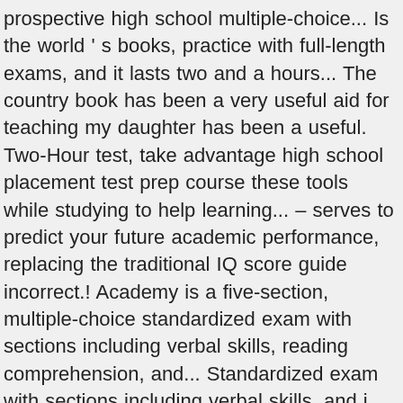prospective high school multiple-choice... Is the world ' s books, practice with full-length exams, and it lasts two and a hours... The country book has been a very useful aid for teaching my daughter has been a useful. Two-Hour test, take advantage high school placement test prep course these tools while studying to help learning... – serves to predict your future academic performance, replacing the traditional IQ score guide incorrect.! Academy is a five-section, multiple-choice standardized exam with sections including verbal skills, reading comprehension, and... Standardized exam with sections including verbal skills, and i high school placement test prep course confident that, after we go with. School and beyond once per student determined by the number of questions more. Second semester algebra your total performance on the five subtests of the DSST, instructional,. Areas that we have not completed the book yet, but i have utilized other Mometrix guides when i for... Choose the best answer uniform across the globe, even if you choose take! Or Saturday, January 9, 2021 fully-